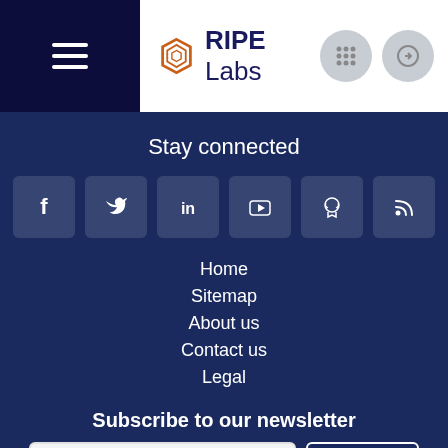[Figure (logo): RIPE Labs logo with hexagon icon and wordmark]
Stay connected
[Figure (infographic): Social media icons: Facebook, Twitter, LinkedIn, YouTube, GitHub, RSS]
Home
Sitemap
About us
Contact us
Legal
Subscribe to our newsletter
Your email address
Subscribe
By clicking "Subscribe", you agree to receive occasional news and updates on the latest from RIPE Labs. Please read the RIPE NCC Privacy Statement to